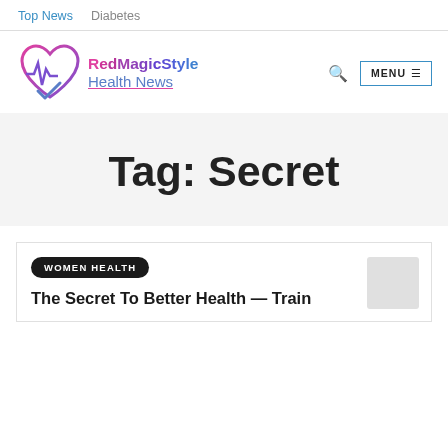Top News   Diabetes
[Figure (logo): RedMagicStyle Health News logo with heart and ECG icon in pink and blue]
Tag: Secret
WOMEN HEALTH
The Secret To Better Health — Train